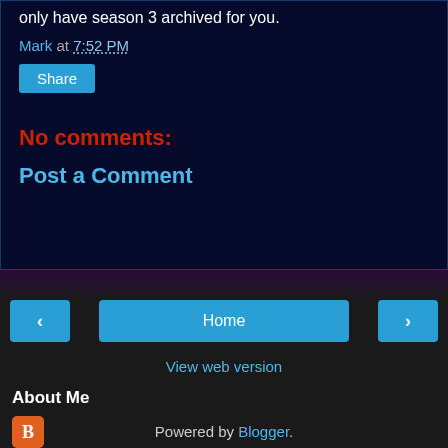only have season 3 archived for you.
Mark at 7:52 PM
Share
No comments:
Post a Comment
< Home >
View web version
About Me
View my complete profile
Powered by Blogger.